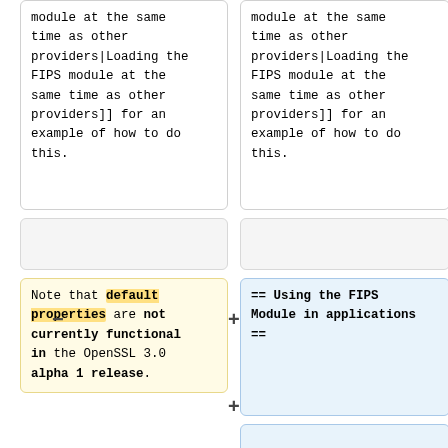module at the same time as other providers|Loading the FIPS module at the same time as other providers]] for an example of how to do this.
module at the same time as other providers|Loading the FIPS module at the same time as other providers]] for an example of how to do this.
Note that default properties are not currently functional in the OpenSSL 3.0 alpha 1 release.
== Using the FIPS Module in applications ==
There are a number of different ways that OpenSSL can be used in conjunction with the